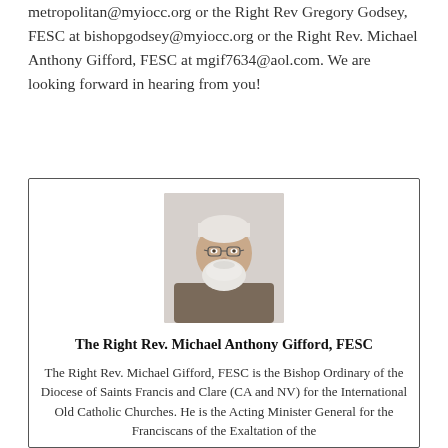metropolitan@myiocc.org or the Right Rev Gregory Godsey, FESC at bishopgodsey@myiocc.org or the Right Rev. Michael Anthony Gifford, FESC at mgif7634@aol.com. We are looking forward in hearing from you!
[Figure (photo): Portrait photo of an elderly man with white beard and glasses wearing a brown robe and a white head covering]
The Right Rev. Michael Anthony Gifford, FESC
The Right Rev. Michael Gifford, FESC is the Bishop Ordinary of the Diocese of Saints Francis and Clare (CA and NV) for the International Old Catholic Churches. He is the Acting Minister General for the Franciscans of the Exaltation of the